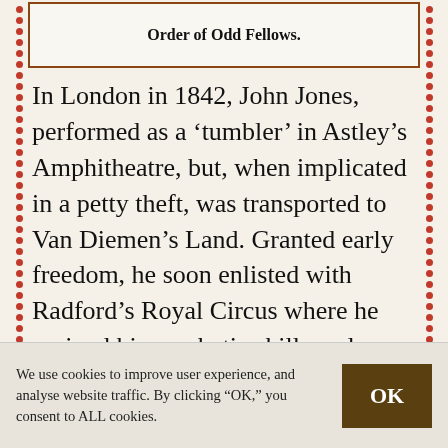[Figure (other): Partial image/scan showing text 'Order of Odd Fellows.' at the bottom of a framed box]
In London in 1842, John Jones, performed as a ‘tumbler’ in Astley’s Amphitheatre, but, when implicated in a petty theft, was transported to Van Diemen’s Land. Granted early freedom, he soon enlisted with Radford’s Royal Circus where he revived his acrobatic skills and learned equestrianism and tightrope walking from the expert performers around him. He also found the time to marry Margaret
We use cookies to improve user experience, and analyse website traffic. By clicking “OK,” you consent to ALL cookies.